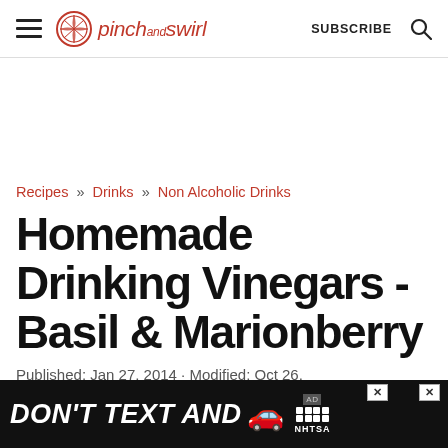pinch and swirl | SUBSCRIBE
Recipes » Drinks » Non Alcoholic Drinks
Homemade Drinking Vinegars - Basil & Mionberry
Published: Jan 27, 2014 · Modified: Oct 26,
[Figure (other): Advertisement banner: DON'T TEXT AND [car emoji] ad badge NHTSA with close buttons]